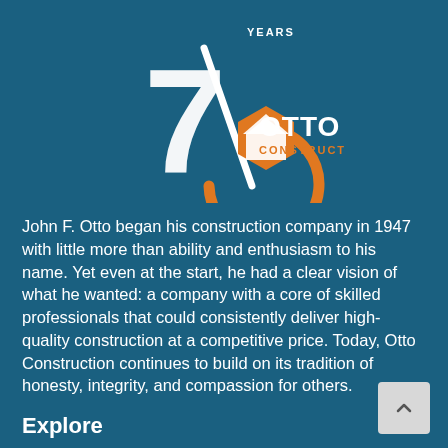[Figure (logo): Otto Construction 75 Years anniversary logo. A large '75' with a check mark slash, an orange circular arc, and an orange hexagonal construction icon with white hard hat shape. Text 'OTTO CONSTRUCTION' in white and orange.]
John F. Otto began his construction company in 1947 with little more than ability and enthusiasm to his name. Yet even at the start, he had a clear vision of what he wanted: a company with a core of skilled professionals that could consistently deliver high-quality construction at a competitive price. Today, Otto Construction continues to build on its tradition of honesty, integrity, and compassion for others.
Explore